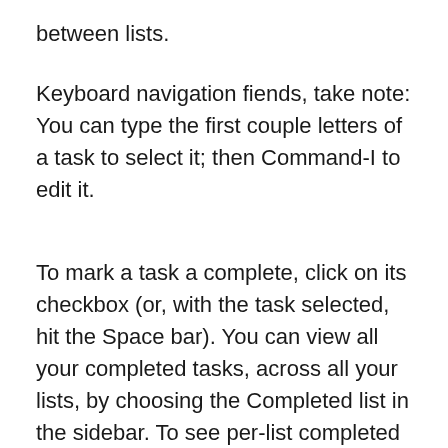between lists.
Keyboard navigation fiends, take note: You can type the first couple letters of a task to select it; then Command-I to edit it.
To mark a task a complete, click on its checkbox (or, with the task selected, hit the Space bar). You can view all your completed tasks, across all your lists, by choosing the Completed list in the sidebar. To see per-list completed tasks, scroll up past the first item in the list to reveal its own Completed section.
Though iCloud offers support for shared Reminder lists, you can't create such lists in the desktop app—instead, you'll need to add them via the iCloud